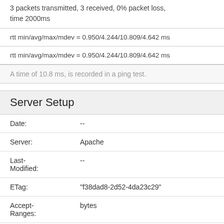3 packets transmitted, 3 received, 0% packet loss, time 2000ms
rtt min/avg/max/mdev = 0.950/4.244/10.809/4.642 ms
rtt min/avg/max/mdev = 0.950/4.244/10.809/4.642 ms
A time of 10.8 ms, is recorded in a ping test.
Server Setup
| Field | Value |
| --- | --- |
| Date: | -- |
| Server: | Apache |
| Last-Modified: | -- |
| ETag: | "f38dad8-2d52-4da23c29" |
| Accept-Ranges: | bytes |
| Content- | ... |